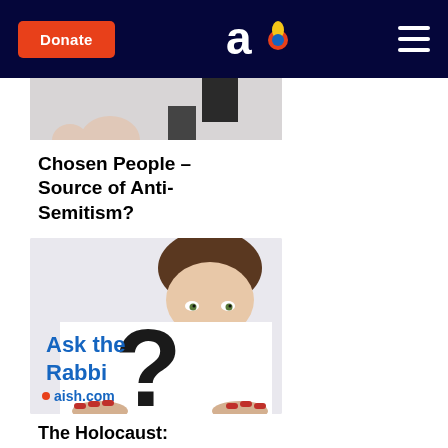Donate | aish.com logo | hamburger menu
[Figure (photo): Partial cropped photo of a hand holding something, with a dark square element, on a light background — article thumbnail for 'Chosen People']
Chosen People – Source of Anti-Semitism?
[Figure (photo): Ask the Rabbi aish.com — woman peeking over a sign with a large black question mark on a white background]
The Holocaust: Why?